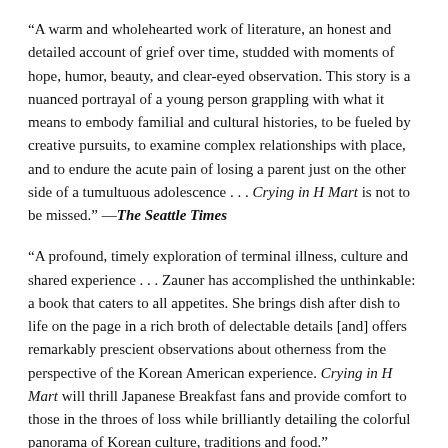“A warm and wholehearted work of literature, an honest and detailed account of grief over time, studded with moments of hope, humor, beauty, and clear-eyed observation. This story is a nuanced portrayal of a young person grappling with what it means to embody familial and cultural histories, to be fueled by creative pursuits, to examine complex relationships with place, and to endure the acute pain of losing a parent just on the other side of a tumultuous adolescence . . . Crying in H Mart is not to be missed.” —The Seattle Times
“A profound, timely exploration of terminal illness, culture and shared experience . . . Zauner has accomplished the unthinkable: a book that caters to all appetites. She brings dish after dish to life on the page in a rich broth of delectable details [and] offers remarkably prescient observations about otherness from the perspective of the Korean American experience. Crying in H Mart will thrill Japanese Breakfast fans and provide comfort to those in the throes of loss while brilliantly detailing the colorful panorama of Korean culture, traditions and food.” —San Francisco Chronicle
“Crying in H Mart powerfully maps a complicated mother-daughter relationship . . . Zauner writes about her mother’s death [with] clear-eyed